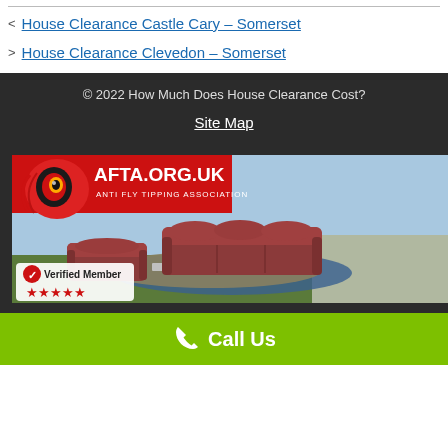House Clearance Castle Cary – Somerset
House Clearance Clevedon – Somerset
© 2022 How Much Does House Clearance Cost?
Site Map
[Figure (photo): AFTA.ORG.UK Anti Fly Tipping Association banner with a photo of discarded furniture (red sofa and armchair) and rubbish dumped outdoors. Verified Member badge with 5 stars shown in bottom left.]
Call Us